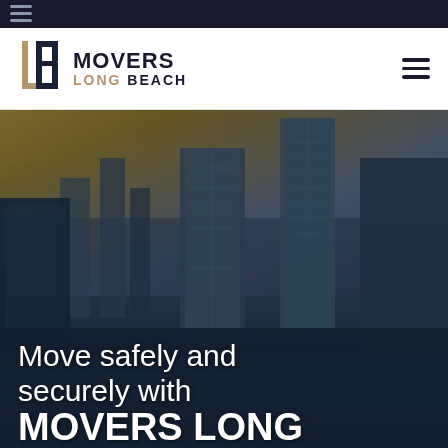[Figure (logo): Movers Long Beach logo with stylized B bracket in tan/gold, MOVERS in dark navy bold uppercase, LONG BEACH in dark navy bold uppercase with LONG in gold]
[Figure (photo): Aerial/ground view of Long Beach city skyline at dusk/golden hour with tall glass skyscrapers against a warm golden-orange sky with clouds, dark blue overlay at base]
Move safely and securely with MOVERS LONG